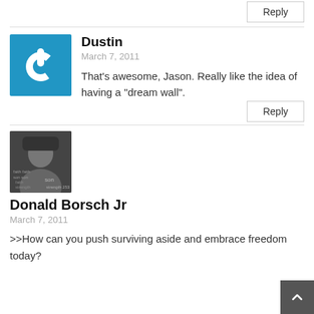[Figure (other): Reply button at top right (partially visible)]
Dustin
March 7, 2011
That’s awesome, Jason. Really like the idea of having a “dream wall”.
Reply
[Figure (photo): Black and white photo of Donald Borsch Jr wearing a cap, with text overlay]
Donald Borsch Jr
March 7, 2011
>>How can you push surviving aside and embrace freedom today?